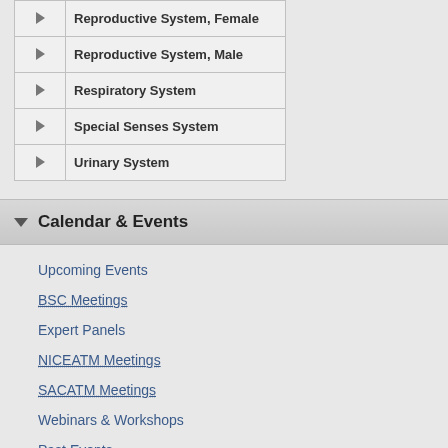| ▶ | Reproductive System, Female |
| ▶ | Reproductive System, Male |
| ▶ | Respiratory System |
| ▶ | Special Senses System |
| ▶ | Urinary System |
Calendar & Events
Upcoming Events
BSC Meetings
Expert Panels
NICEATM Meetings
SACATM Meetings
Webinars & Workshops
Past Events